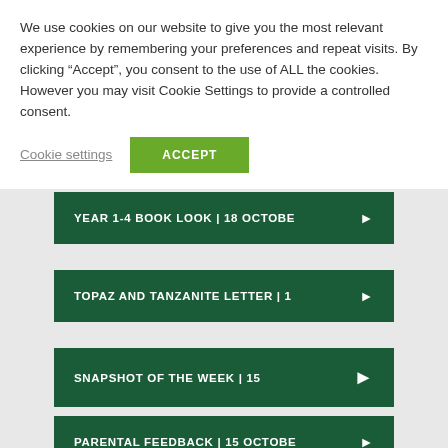We use cookies on our website to give you the most relevant experience by remembering your preferences and repeat visits. By clicking “Accept”, you consent to the use of ALL the cookies. However you may visit Cookie Settings to provide a controlled consent.
Cookie settings
ACCEPT
YEAR 1-4 BOOK LOOK | 18 OCTOBE►
TOPAZ AND TANZANITE LETTER | 1►
SNAPSHOT OF THE WEEK | 15 ►
PARENTAL FEEDBACK | 15 OCTOBE►